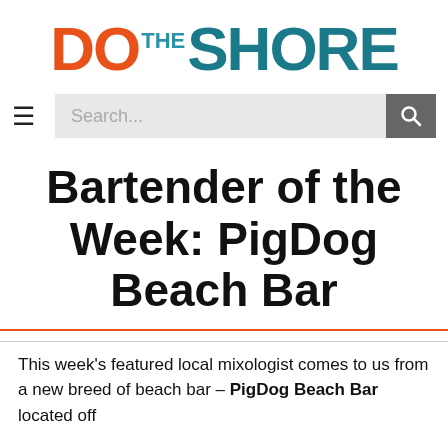DO THE SHORE
[Figure (other): Navigation bar with hamburger menu icon and search bar with search button]
Bartender of the Week: PigDog Beach Bar
This week's featured local mixologist comes to us from a new breed of beach bar – PigDog Beach Bar located off